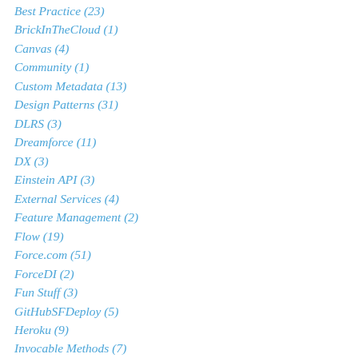Best Practice (23)
BrickInTheCloud (1)
Canvas (4)
Community (1)
Custom Metadata (13)
Design Patterns (31)
DLRS (3)
Dreamforce (11)
DX (3)
Einstein API (3)
External Services (4)
Feature Management (2)
Flow (19)
Force.com (51)
ForceDI (2)
Fun Stuff (3)
GitHubSFDeploy (5)
Heroku (9)
Invocable Methods (7)